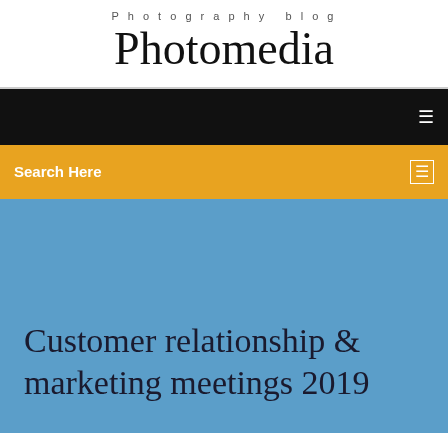Photography blog
Photomedia
[Figure (screenshot): Black navigation bar with a white menu icon on the right]
Search Here
[Figure (screenshot): Blue hero image area with article title text overlay]
Customer relationship & marketing meetings 2019